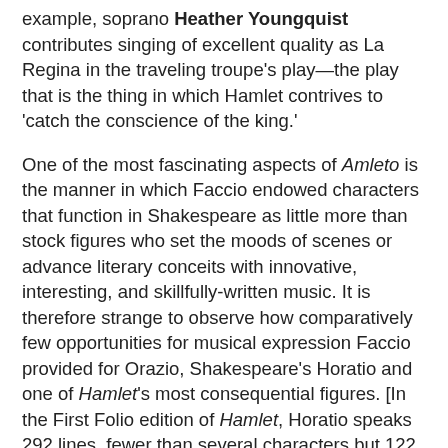example, soprano Heather Youngquist contributes singing of excellent quality as La Regina in the traveling troupe's play—the play that is the thing in which Hamlet contrives to 'catch the conscience of the king.'
One of the most fascinating aspects of Amleto is the manner in which Faccio endowed characters that function in Shakespeare as little more than stock figures who set the moods of scenes or advance literary conceits with innovative, interesting, and skillfully-written music. It is therefore strange to observe how comparatively few opportunities for musical expression Faccio provided for Orazio, Shakespeare's Horatio and one of Hamlet's most consequential figures. [In the First Folio edition of Hamlet, Horatio speaks 292 lines, fewer than several characters but 122 more than Ophelia!] In this performance of Amleto, bass Joseph Hubbard grants Orazio the stature of his Shakespearean counterpart. Singing with imperturbable concentration, Hubbard precisely gauges the gravity of each note and word of his part, attaining the difficult balance between urgency and levity. Faccio's Orazio is basically a conventional operatic secondo uomo, but Hubbard's Orazio is someone with his own identity in Amleto, having the...